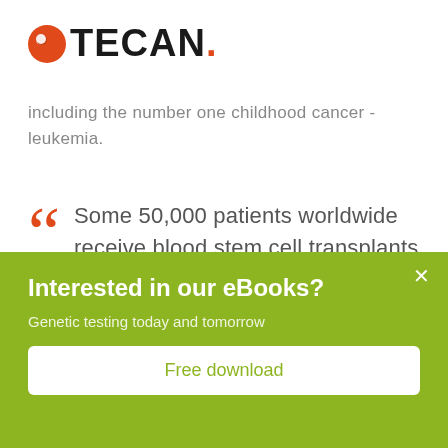[Figure (logo): TECAN logo with orange circle icon and black text TECAN with orange period]
including the number one childhood cancer - leukemia.
Some 50,000 patients worldwide receive blood stem cell transplants each year, and their fate may well rest on how quickly clinicians are able to find them a well-matched
Interested in our eBooks?
Genetic testing today and tomorrow
Free download